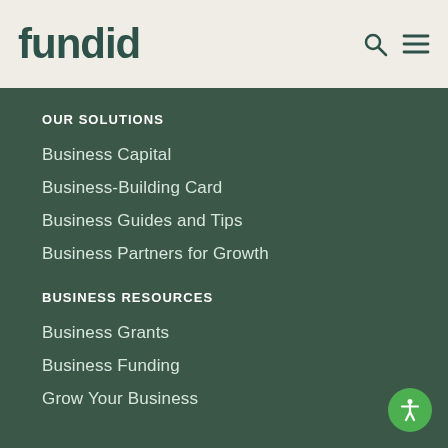fundid
OUR SOLUTIONS
Business Capital
Business-Building Card
Business Guides and Tips
Business Partners for Growth
BUSINESS RESOURCES
Business Grants
Business Funding
Grow Your Business